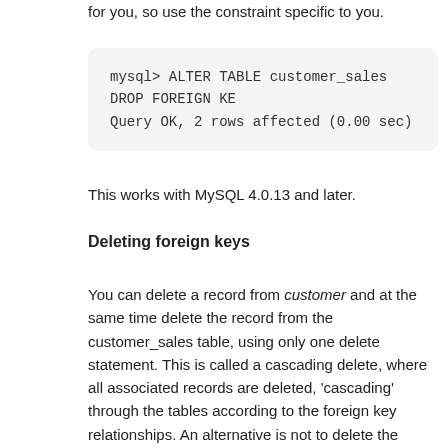for you, so use the constraint specific to you.
mysql> ALTER TABLE customer_sales DROP FOREIGN KE
Query OK, 2 rows affected (0.00 sec)
This works with MySQL 4.0.13 and later.
Deleting foreign keys
You can delete a record from customer and at the same time delete the record from the customer_sales table, using only one delete statement. This is called a cascading delete, where all associated records are deleted, 'cascading' through the tables according to the foreign key relationships. An alternative is not to delete the related record, but to set the foreign key value to NULL (assuming the field can be NULL – it is not in our example as we have defined customer_id as NOT NULL). The standard options when deleting a foreign key are listed below.